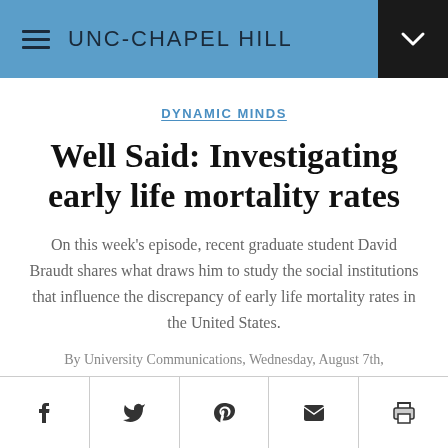UNC-CHAPEL HILL
DYNAMIC MINDS
Well Said: Investigating early life mortality rates
On this week's episode, recent graduate student David Braudt shares what draws him to study the social institutions that influence the discrepancy of early life mortality rates in the United States.
By University Communications, Wednesday, August 7th,